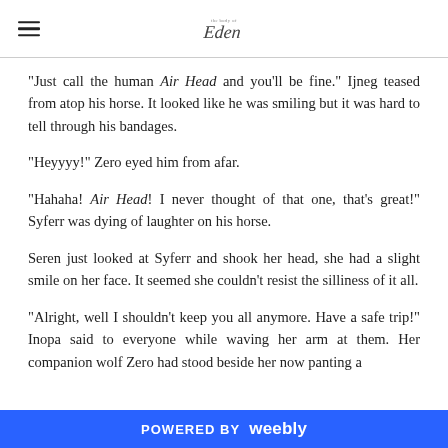the body of Eden (logo)
“Just call the human Air Head and you’ll be fine.” Ijneg teased from atop his horse. It looked like he was smiling but it was hard to tell through his bandages.
“Heyyyy!” Zero eyed him from afar.
“Hahaha! Air Head! I never thought of that one, that’s great!” Syferr was dying of laughter on his horse.
Seren just looked at Syferr and shook her head, she had a slight smile on her face. It seemed she couldn’t resist the silliness of it all.
“Alright, well I shouldn’t keep you all anymore. Have a safe trip!” Inopa said to everyone while waving her arm at them. Her companion wolf Zero had stood beside her now panting a
POWERED BY weebly